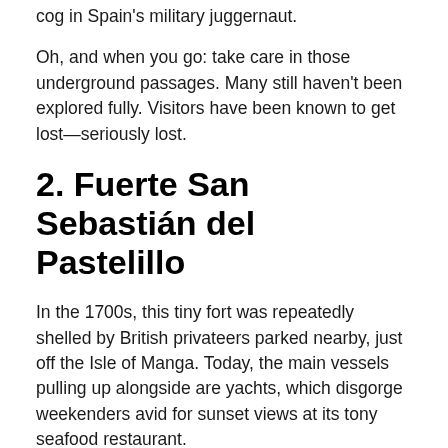cog in Spain's military juggernaut.
Oh, and when you go: take care in those underground passages. Many still haven't been explored fully. Visitors have been known to get lost—seriously lost.
2. Fuerte San Sebastián del Pastelillo
In the 1700s, this tiny fort was repeatedly shelled by British privateers parked nearby, just off the Isle of Manga. Today, the main vessels pulling up alongside are yachts, which disgorge weekenders avid for sunset views at its tony seafood restaurant.
San Sebastián, like many Cartagena forts, has undergone multiple incarnations. Christened San Felipe de Boquerón in 1566, its first version represented the city's fledgling, i.e., inadequate